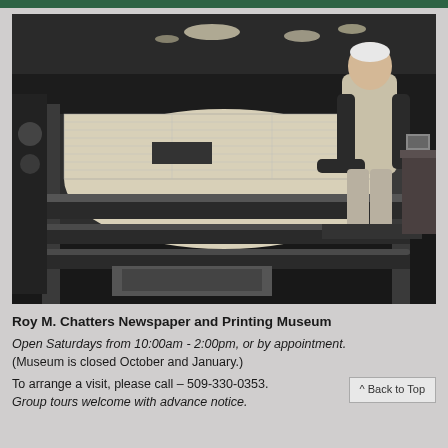[Figure (photo): Black and white historical photograph of a man in an apron operating a large newspaper printing press machine.]
Roy M. Chatters Newspaper and Printing Museum
Open Saturdays from 10:00am - 2:00pm, or by appointment.
(Museum is closed October and January.)
To arrange a visit, please call – 509-330-0353.
Group tours welcome with advance notice.